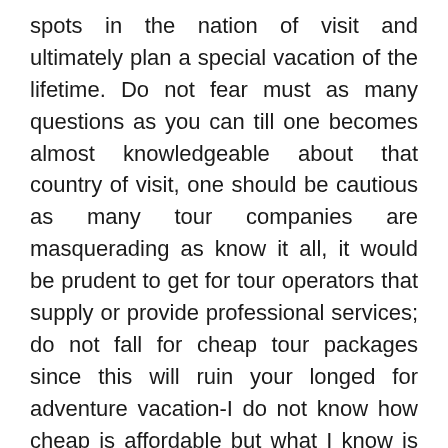spots in the nation of visit and ultimately plan a special vacation of the lifetime. Do not fear must as many questions as you can till one becomes almost knowledgeable about that country of visit, one should be cautious as many tour companies are masquerading as know it all, it would be prudent to get for tour operators that supply or provide professional services; do not fall for cheap tour packages since this will ruin your longed for adventure vacation-I do not know how cheap is affordable but what I know is that cheap is pricey over time. Try to avoid briefcase tour operators; these lenders will ruin your most desired holiday.